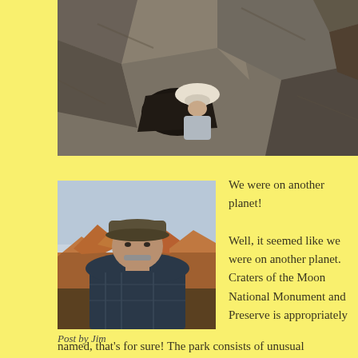[Figure (photo): Person in white hat emerging from between large volcanic/basalt rocks, viewed from above]
[Figure (photo): Older man with gray mustache wearing a dark cap and plaid shirt, standing at a scenic overlook with orange rock formations in background. Bryce Canyon area.]
Post by Jim
We were on another planet!

Well, it seemed like we were on another planet. Craters of the Moon National Monument and Preserve is appropriately named, that's for sure! The park consists of unusual
named, that's for sure! The park consists of unusual